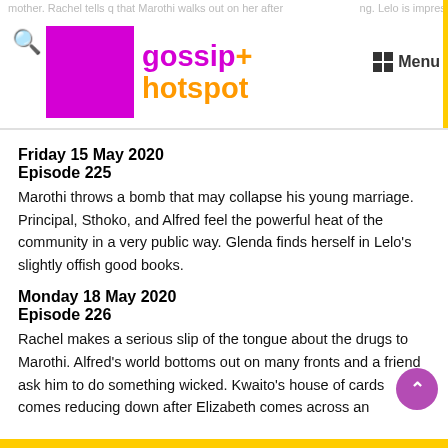gossip+ hotspot
Friday 15 May 2020
Episode 225
Marothi throws a bomb that may collapse his young marriage. Principal, Sthoko, and Alfred feel the powerful heat of the community in a very public way. Glenda finds herself in Lelo's slightly offish good books.
Monday 18 May 2020
Episode 226
Rachel makes a serious slip of the tongue about the drugs to Marothi. Alfred's world bottoms out on many fronts and a friend ask him to do something wicked. Kwaito's house of cards comes reducing down after Elizabeth comes across an